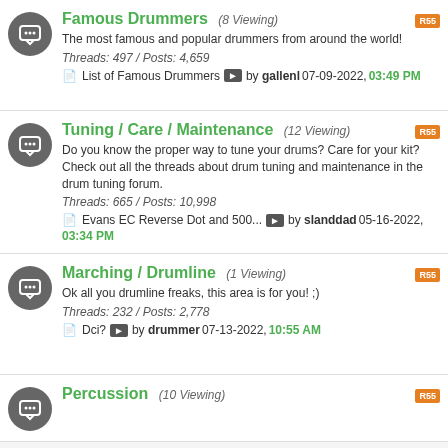Famous Drummers (8 Viewing) - The most famous and popular drummers from around the world! Threads: 497 / Posts: 4,659. List of Famous Drummers > by gallenl 07-09-2022, 03:49 PM
Tuning / Care / Maintenance (12 Viewing) - Do you know the proper way to tune your drums? Care for your kit? Check out all the threads about drum tuning and maintenance in the drum tuning forum. Threads: 665 / Posts: 10,998. Evans EC Reverse Dot and 500... > by slanddad 05-16-2022, 03:34 PM
Marching / Drumline (1 Viewing) - Ok all you drumline freaks, this area is for you! ;) Threads: 232 / Posts: 2,778. Dci? > by drummer 07-13-2022, 10:55 AM
Percussion (10 Viewing)